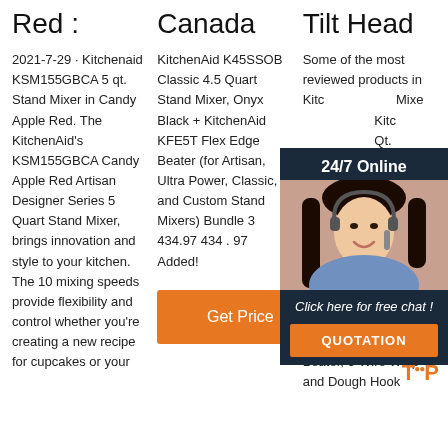Red :
Canada
Tilt Head
2021-7-29 · Kitchenaid KSM155GBCA 5 qt. Stand Mixer in Candy Apple Red. The KitchenAid's KSM155GBCA Candy Apple Red Artisan Designer Series 5 Quart Stand Mixer, brings innovation and style to your kitchen. The 10 mixing speeds provide flexibility and control whether you're creating a new recipe for cupcakes or your
KitchenAid K45SSOB Classic 4.5 Quart Stand Mixer, Onyx Black + KitchenAid KFE5T Flex Edge Beater (for Artisan, Ultra Power, Classic, and Custom Stand Mixers) Bundle 3 434.97 434 . 97 Added!
[Figure (other): Orange 'Get Price' button]
Some of the most reviewed products in KitchenAid Stand Mixers KitchenAid Artisan 5 Qt. Candy Apple Red Stand Mixer with Flat Beater, 6-Wire Whip Attachment 34,8... the KitchenAid Artisan 5 Qt. 10-Speed Cinnamon Gloss Stand Mixer with Flat Beater, 6-Wire Whip and Dough Hook
[Figure (other): Chat overlay with 24/7 Online banner, customer service representative photo, 'Click here for free chat!' text, and orange QUOTATION button]